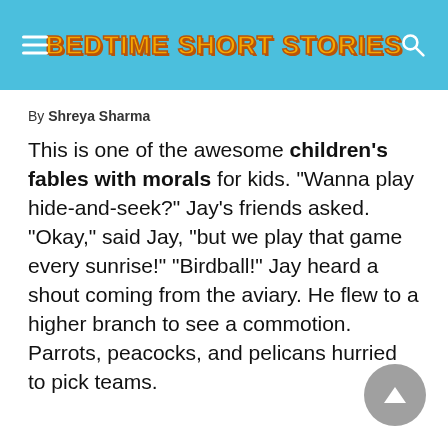BEDTIME SHORT STORIES
By Shreya Sharma
This is one of the awesome children's fables with morals for kids. “Wanna play hide-and-seek?” Jay’s friends asked. “Okay,” said Jay, “but we play that game every sunrise!” “Birdball!” Jay heard a shout coming from the aviary. He flew to a higher branch to see a commotion. Parrots, peacocks, and pelicans hurried to pick teams.